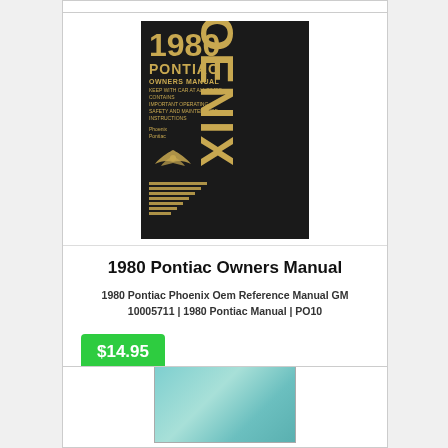[Figure (photo): 1980 Pontiac Phoenix Owners Manual book cover — black cover with gold/tan text reading '1980 PONTIAC OWNERS MANUAL' and 'PHOENIX' text vertically on the right side, with an eagle emblem and horizontal stripes]
1980 Pontiac Owners Manual
1980 Pontiac Phoenix Oem Reference Manual GM 10005711 | 1980 Pontiac Manual | PO10
$14.95
[Figure (photo): Partial view of another manual with a light blue/teal cover, partially visible at the bottom of the page]